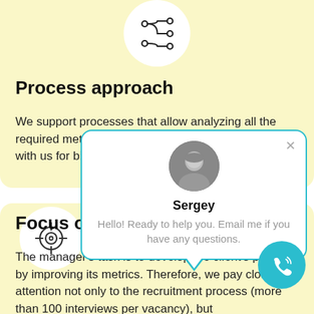[Figure (illustration): Process/routing icon (nodes connected by curved lines) in a white circle on yellow background]
Process approach
We support processes that allow analyzing all the required metrics and provide simple communication with us for big Russian and international businesses.
[Figure (illustration): Chat popup overlay with person photo (Sergey), blue border, name and message text, and close X button]
[Figure (illustration): Target/crosshair icon in a white circle on yellow background]
Focus on business goals
The manager's task is to develop the client's project by improving its metrics. Therefore, we pay close attention not only to the recruitment process (more than 100 interviews per vacancy), but
[Figure (illustration): Blue circular phone/call button with phone icon with signal waves]